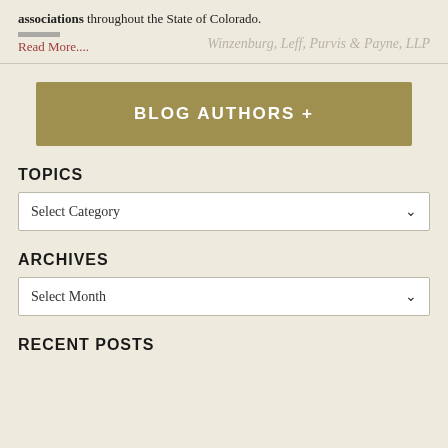associations throughout the State of Colorado.
Read More....
Winzenburg, Leff, Purvis & Payne, LLP
BLOG AUTHORS +
TOPICS
Select Category
ARCHIVES
Select Month
RECENT POSTS